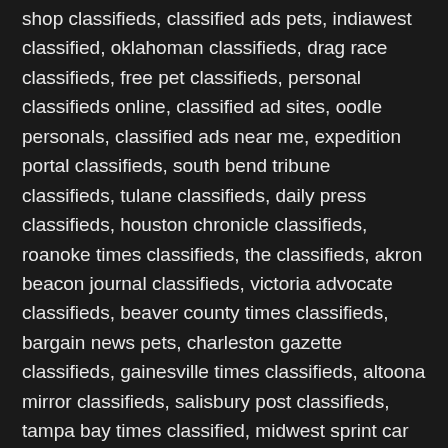shop classifieds, classified ads pets, indiawest classified, oklahoman classifieds, drag race classifieds, free pet classifieds, personal classifieds online, classified ad sites, oodle personals, classified ads near me, expedition portal classifieds, south bend tribune classifieds, tulane classifieds, daily press classifieds, houston chronicle classifieds, roanoke times classifieds, the classifieds, akron beacon journal classifieds, victoria advocate classifieds, beaver county times classifieds, bargain news pets, charleston gazette classifieds, gainesville times classifieds, altoona mirror classifieds, salisbury post classifieds, tampa bay times classified, midwest sprint car classifieds, ukc cur and feist classifieds, herald citizen classifieds, the shopper classifieds, cleveland daily banner classifieds, farm and dairy classifieds, emu classifieds, suffolk times classified, gazette classifieds, newagtalk classifieds, want ad digest puppies for sale, washington post classifieds pets, island classifieds, fernandina thrift nickel,